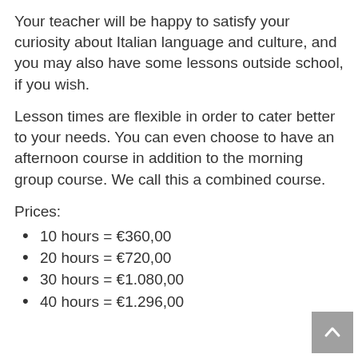Your teacher will be happy to satisfy your curiosity about Italian language and culture, and you may also have some lessons outside school, if you wish.
Lesson times are flexible in order to cater better to your needs. You can even choose to have an afternoon course in addition to the morning group course. We call this a combined course.
Prices:
10 hours = €360,00
20 hours = €720,00
30 hours = €1.080,00
40 hours = €1.296,00